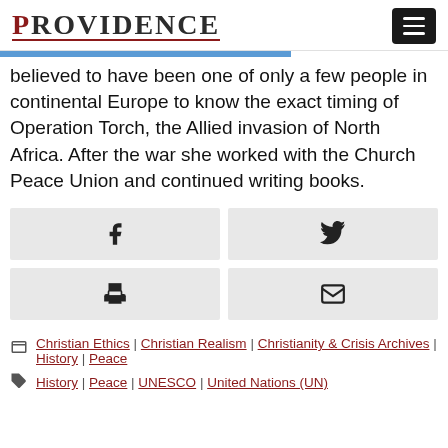PROVIDENCE
believed to have been one of only a few people in continental Europe to know the exact timing of Operation Torch, the Allied invasion of North Africa. After the war she worked with the Church Peace Union and continued writing books.
[Figure (other): Social share buttons: Facebook, Twitter, Print, Email]
Christian Ethics | Christian Realism | Christianity & Crisis Archives | History | Peace
History | Peace | UNESCO | United Nations (UN)